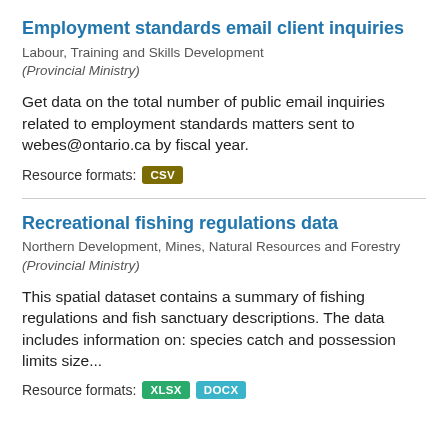Employment standards email client inquiries
Labour, Training and Skills Development (Provincial Ministry)
Get data on the total number of public email inquiries related to employment standards matters sent to webes@ontario.ca by fiscal year.
Resource formats: CSV
Recreational fishing regulations data
Northern Development, Mines, Natural Resources and Forestry (Provincial Ministry)
This spatial dataset contains a summary of fishing regulations and fish sanctuary descriptions. The data includes information on: species catch and possession limits size...
Resource formats: XLSX DOCX